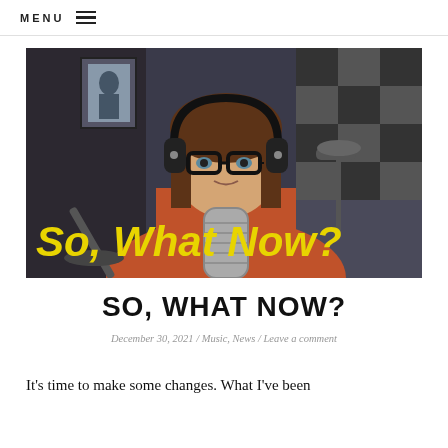MENU
[Figure (photo): A woman wearing headphones and glasses sitting in front of a microphone in a recording studio/podcast setup. Yellow bold text overlaid reads 'So, What Now?' on the lower portion of the image.]
SO, WHAT NOW?
December 30, 2021 / Music, News / Leave a comment
It's time to make some changes. What I've been